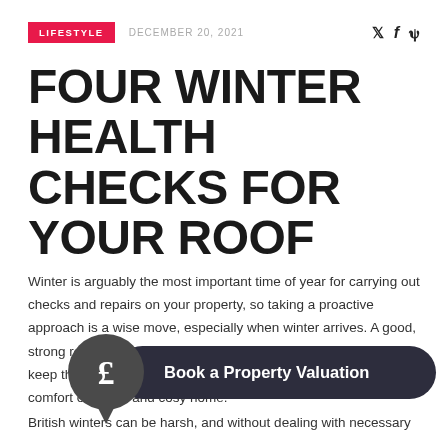LIFESTYLE  DECEMBER 20, 2021
FOUR WINTER HEALTH CHECKS FOR YOUR ROOF
Winter is arguably the most important time of year for carrying out checks and repairs on your property, so taking a proactive approach is a wise move, especially when winter arrives. A good, strong roof should protect your house from the elements and keep the heat in, enabling you to enjoy the colder months in the comfort of a safe and cosy home.
[Figure (infographic): Book a Property Valuation CTA button with pound sterling speech bubble icon on dark rounded rectangle background]
British winters can be harsh, and without dealing with necessary